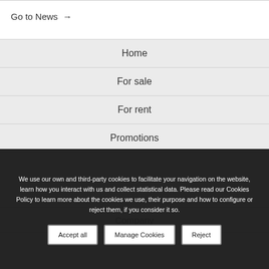Go to News →
Home
For sale
For rent
Promotions
Company
We use our own and third-party cookies to facilitate your navigation on the website, learn how you interact with us and collect statistical data. Please read our Cookies Policy to learn more about the cookies we use, their purpose and how to configure or reject them, if you consider it so.
Accept all
Manage Cookies
Reject